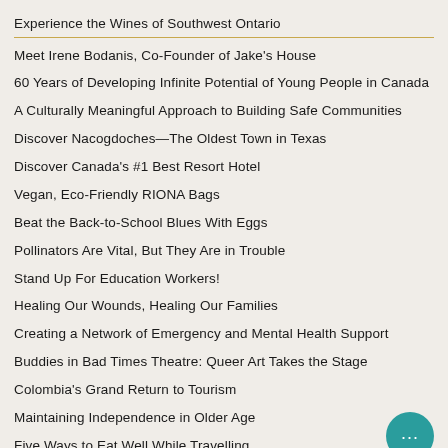Experience the Wines of Southwest Ontario
Meet Irene Bodanis, Co-Founder of Jake's House
60 Years of Developing Infinite Potential of Young People in Canada
A Culturally Meaningful Approach to Building Safe Communities
Discover Nacogdoches—The Oldest Town in Texas
Discover Canada's #1 Best Resort Hotel
Vegan, Eco-Friendly RIONA Bags
Beat the Back-to-School Blues With Eggs
Pollinators Are Vital, But They Are in Trouble
Stand Up For Education Workers!
Healing Our Wounds, Healing Our Families
Creating a Network of Emergency and Mental Health Support
Buddies in Bad Times Theatre: Queer Art Takes the Stage
Colombia's Grand Return to Tourism
Maintaining Independence in Older Age
Five Ways to Eat Well While Travelling